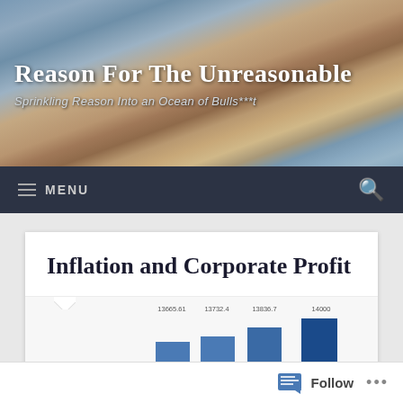Reason For The Unreasonable
Sprinkling Reason Into an Ocean of Bulls***t
MENU
Inflation and Corporate Profit
[Figure (bar-chart): Partial bar chart visible at page bottom]
Follow